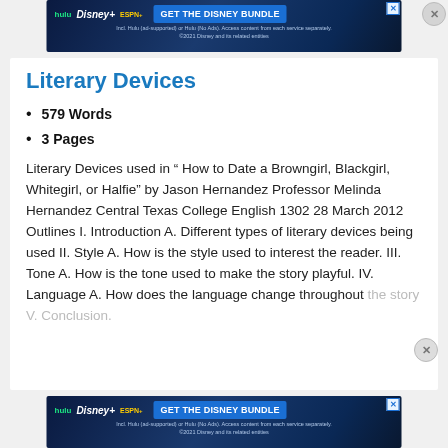[Figure (screenshot): Disney Bundle advertisement banner at top with Hulu, Disney+, ESPN+ logos and 'GET THE DISNEY BUNDLE' button]
Literary Devices
579 Words
3 Pages
Literary Devices used in “ How to Date a Browngirl, Blackgirl, Whitegirl, or Halfie” by Jason Hernandez Professor Melinda Hernandez Central Texas College English 1302 28 March 2012 Outlines I. Introduction A. Different types of literary devices being used II. Style A. How is the style used to interest the reader. III. Tone A. How is the tone used to make the story playful. IV. Language A. How does the language change throughout the story V. Conclusion.
[Figure (screenshot): Disney Bundle advertisement banner at bottom with Hulu, Disney+, ESPN+ logos and 'GET THE DISNEY BUNDLE' button]